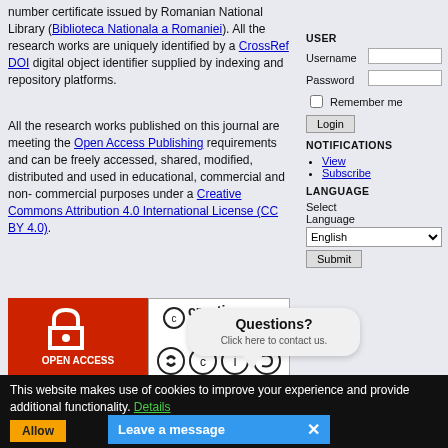number certificate issued by Romanian National Library (Biblioteca Nationala a Romaniei). All the research works are uniquely identified by a CrossRef DOI digital object identifier supplied by indexing and repository platforms.
All the research works published on this journal are meeting the Open Access Publishing requirements and can be freely accessed, shared, modified, distributed and used in educational, commercial and non-commercial purposes under a Creative Commons Attribution 4.0 International License (CC BY 4.0).
[Figure (logo): Open Access badge (red background with open lock icon and text OPEN ACCESS) next to Creative Commons license badge showing CC symbols]
USER
Username
Password
Remember me
Login
NOTIFICATIONS
View
Subscribe
LANGUAGE
Select Language
English
Submit
This website makes use of cookies to improve your experience and provide additional functionality. Details
[Figure (infographic): Questions? Click here to contact us. speech bubble popup]
Leave a message